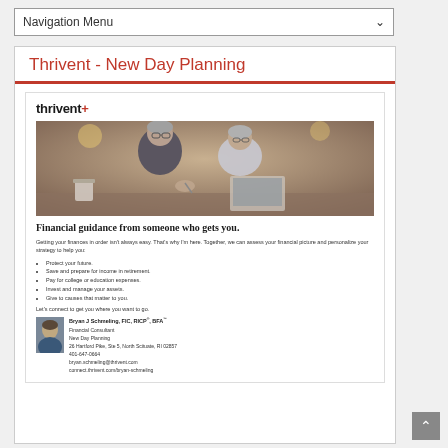Navigation Menu
Thrivent - New Day Planning
[Figure (photo): Older couple sitting together reviewing financial documents at a table with a laptop and coffee mug, warm indoor lighting]
Financial guidance from someone who gets you.
Getting your finances in order isn't always easy. That's why I'm here. Together, we can assess your financial picture and personalize your strategy to help you:
Protect your future.
Save and prepare for income in retirement.
Pay for college or education expenses.
Invest and manage your assets.
Give to causes that matter to you.
Let's connect to get you where you want to go.
Bryan J Schmeling, FIC, RICP®, BFA™
Financial Consultant
New Day Planning
26 Hartford Pike, Ste 5, North Scituate, RI 02857
401-647-0664
bryan.schmeling@thrivent.com
connect.thrivent.com/bryan-schmeling